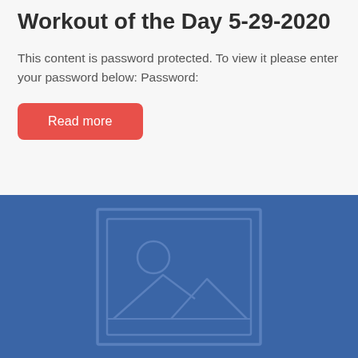Workout of the Day 5-29-2020
This content is password protected. To view it please enter your password below: Password:
[Figure (other): Red 'Read more' button]
[Figure (photo): Blue placeholder image block with a generic image/photo icon outline (rectangle with mountain and circle shapes)]